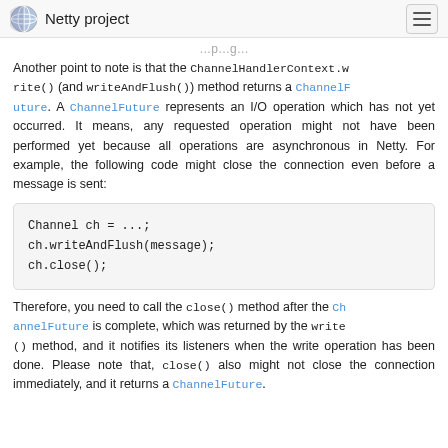Netty project
Another point to note is that the ChannelHandlerContext.write() (and writeAndFlush()) method returns a ChannelFuture. A ChannelFuture represents an I/O operation which has not yet occurred. It means, any requested operation might not have been performed yet because all operations are asynchronous in Netty. For example, the following code might close the connection even before a message is sent:
Therefore, you need to call the close() method after the ChannelFuture is complete, which was returned by the write() method, and it notifies its listeners when the write operation has been done. Please note that, close() also might not close the connection immediately, and it returns a ChannelFuture.